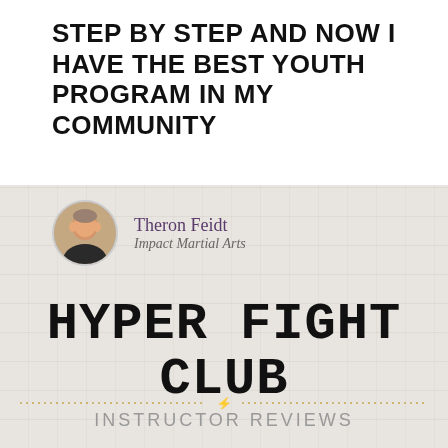STEP BY STEP AND NOW I HAVE THE BEST YOUTH PROGRAM IN MY COMMUNITY
Theron Feidt
Impact Martial Arts
HYPER FIGHT CLUB
INSTRUCTOR REVIEWS